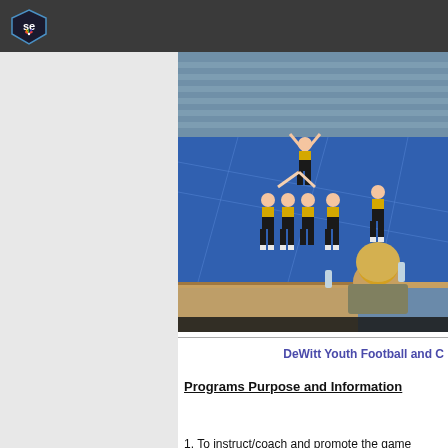SE (NBC Sports Engine logo)
[Figure (photo): Cheerleaders performing a stunt on a blue mat in a gymnasium during a cheerleading competition. A person with blonde hair is seated at a table in the foreground watching.]
DeWitt Youth Football and C
Programs Purpose and Information
1. To instruct/coach and promote the game